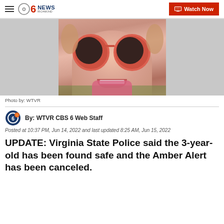CBS 6 News Richmond — Watch Now
[Figure (photo): Young girl with red/coral round sunglasses, smiling, outdoors. Photo credited to WTVR.]
Photo by: WTVR
By: WTVR CBS 6 Web Staff
Posted at 10:37 PM, Jun 14, 2022 and last updated 8:25 AM, Jun 15, 2022
UPDATE: Virginia State Police said the 3-year-old has been found safe and the Amber Alert has been canceled.